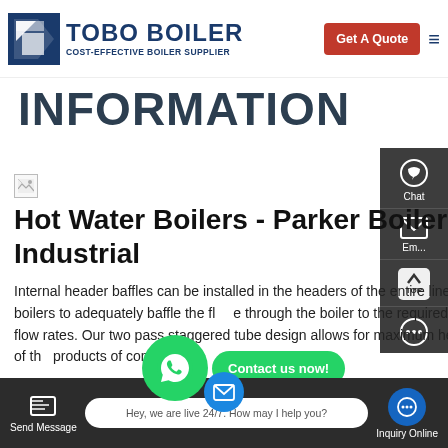TOBO BOILER — COST-EFFECTIVE BOILER SUPPLIER | Get A Quote
INFORMATION
[Figure (screenshot): Broken image placeholder icon (small white box with torn image symbol)]
Hot Water Boilers - Parker Boiler Co. | Industrial
Internal header baffles can be installed in the headers of the entire line of hot water boilers to adequately baffle the flow through the boiler to the required design flow rates. Our two pass staggered tube design allows for maximum heat absorption of the products of combustion.
[Figure (screenshot): WhatsApp floating button with green circle and phone icon, with 'Contact us now!' green pill button overlay]
Send Message    Hey, we are live 24/7. How may I help you?    Inquiry Online